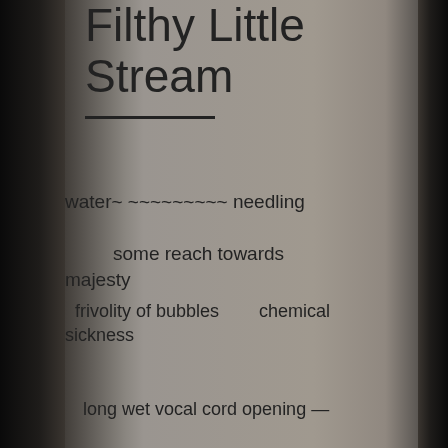Filthy Little Stream
water~ ~~~~~~~~~ needling
some reach towards majesty
frivolity of bubbles        chemical sickness
long wet vocal cord opening —